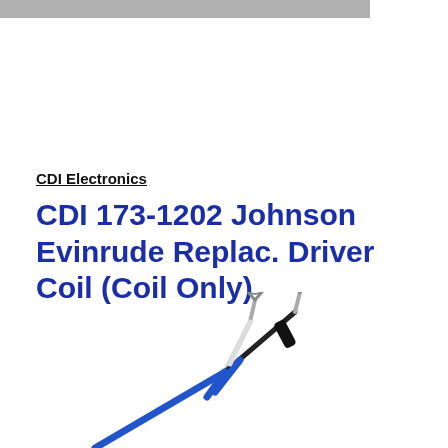CDI Electronics
CDI 173-1202 Johnson Evinrude Replac. Driver Coil (Coil Only)
[Figure (photo): Photo of CDI 173-1202 driver coil showing two wire leads with fork/spade terminal connectors at the ends, one white wire and one black wire, both with a blue jacket lower section, the terminals are silver/gray fork connectors.]